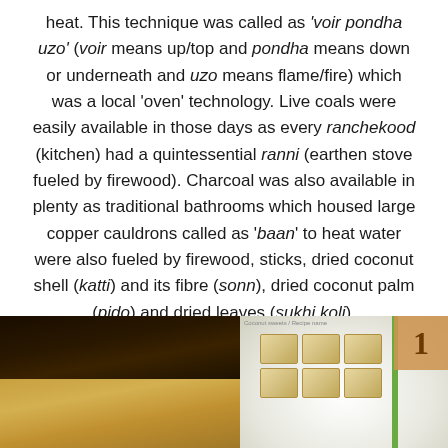heat. This technique was called as 'voir pondha uzo' (voir means up/top and pondha means down or underneath and uzo means flame/fire) which was a local 'oven' technology. Live coals were easily available in those days as every ranchekood (kitchen) had a quintessential ranni (earthen stove fueled by firewood). Charcoal was also available in plenty as traditional bathrooms which housed large copper cauldrons called as 'baan' to heat water were also fueled by firewood, sticks, dried coconut shell (katti) and its fibre (sonn), dried coconut palm (pido) and dried leaves (sukhi koli).
[Figure (photo): Two food photos side by side: left shows dark-topped baked coconut cake pieces, right shows light-colored square sweet pieces on a green leaf background with an orange/tan square overlay in top right corner.]